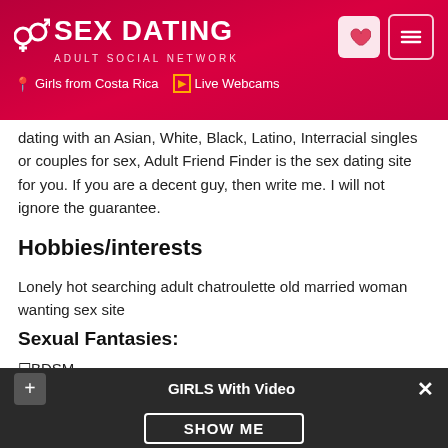SEX DATING ADULT SOCIAL NETWORK | Girls from Costa Rica | Live Webcams
dating with an Asian, White, Black, Latino, Interracial singles or couples for sex, Adult Friend Finder is the sex dating site for you. If you are a decent guy, then write me. I will not ignore the guarantee.
Hobbies/interests
Lonely hot searching adult chatroulette old married woman wanting sex site
Sexual Fantasies:
☐BDSM
GIRLS With Video  SHOW ME